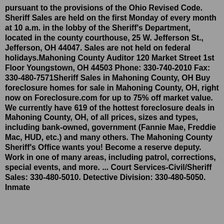pursuant to the provisions of the Ohio Revised Code. Sheriff Sales are held on the first Monday of every month at 10 a.m. in the lobby of the Sheriff's Department, located in the county courthouse, 25 W. Jefferson St., Jefferson, OH 44047. Sales are not held on federal holidays.Mahoning County Auditor 120 Market Street 1st Floor Youngstown, OH 44503 Phone: 330-740-2010 Fax: 330-480-7571Sheriff Sales in Mahoning County, OH Buy foreclosure homes for sale in Mahoning County, OH, right now on Foreclosure.com for up to 75% off market value. We currently have 619 of the hottest foreclosure deals in Mahoning County, OH, of all prices, sizes and types, including bank-owned, government (Fannie Mae, Freddie Mac, HUD, etc.) and many others. The Mahoning County Sheriff's Office wants you! Become a reserve deputy. Work in one of many areas, including patrol, corrections, special events, and more. ... Court Services-Civil/Sheriff Sales: 330-480-5010. Detective Division: 330-480-5050. Inmate Processing: 330-480-4777. Inmate Medical: 330-...